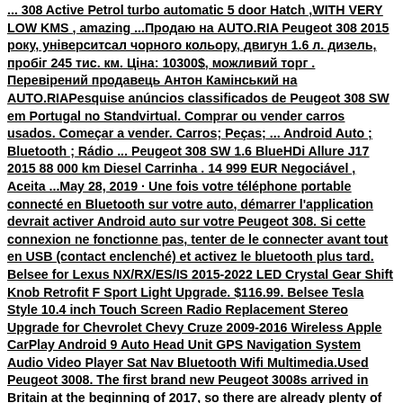... 308 Active Petrol turbo automatic 5 door Hatch ,WITH VERY LOW KMS , amazing ...Продаю на AUTO.RIA Peugeot 308 2015 року, універсал чорного кольору, двигун 1.6 л. дизель, пробіг 245 тис. км. Ціна: 10300$, можливий торг . Перевірений продавець Антон Камінський на AUTO.RIAPesquise anúncios classificados de Peugeot 308 SW em Portugal no Standvirtual. Comprar ou vender carros usados. Começar a vender. Carros; Peças; ... Android Auto ; Bluetooth ; Rádio ... Peugeot 308 SW 1.6 BlueHDi Allure J17 2015 88 000 km Diesel Carrinha . 14 999 EUR Negociável , Aceita ...May 28, 2019 · Une fois votre téléphone portable connecté en Bluetooth sur votre auto, démarrer l'application devrait activer Android auto sur votre Peugeot 308. Si cette connexion ne fonctionne pas, tenter de le connecter avant tout en USB (contact enclenché) et activez le bluetooth plus tard. Belsee for Lexus NX/RX/ES/IS 2015-2022 LED Crystal Gear Shift Knob Retrofit F Sport Light Upgrade. $116.99. Belsee Tesla Style 10.4 inch Touch Screen Radio Replacement Stereo Upgrade for Chevrolet Chevy Cruze 2009-2016 Wireless Apple CarPlay Android 9 Auto Head Unit GPS Navigation System Audio Video Player Sat Nav Bluetooth Wifi Multimedia.Used Peugeot 3008. The first brand new Peugeot 3008s arrived in Britain at the beginning of 2017, so there are already plenty of used models to choose from. Demand is high, though, so prices are still relatively high. The cheapest models start at £11,792 on